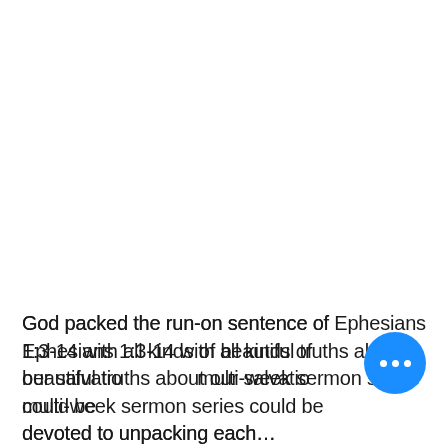God packed the run-on sentence of Ephesians 1:3-14 with all kinds of beautiful truths about our salvation. A multi-week sermon series could be devoted to unpacking each...